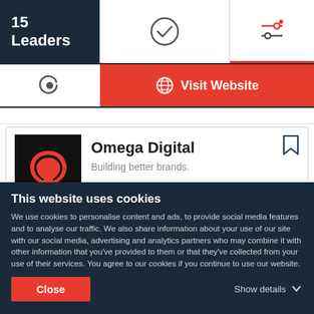15 Leaders
[Figure (screenshot): Visit Website button with globe icon in red]
[Figure (logo): Omega Digital logo - black background with red omega symbol]
Omega Digital
Building better brands.
$1,000+  $50 - $99 / hr
This website uses cookies
We use cookies to personalise content and ads, to provide social media features and to analyse our traffic. We also share information about your use of our site with our social media, advertising and analytics partners who may combine it with other information that you've provided to them or that they've collected from your use of their services. You agree to our cookies if you continue to use our website.
Close  Show details